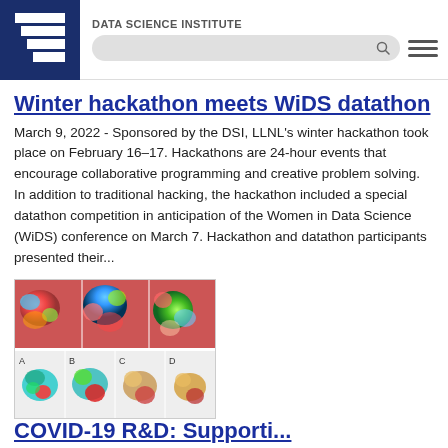DATA SCIENCE INSTITUTE
Winter hackathon meets WiDS datathon
March 9, 2022 - Sponsored by the DSI, LLNL's winter hackathon took place on February 16–17. Hackathons are 24-hour events that encourage collaborative programming and creative problem solving. In addition to traditional hacking, the hackathon included a special datathon competition in anticipation of the Women in Data Science (WiDS) conference on March 7. Hackathon and datathon participants presented their...
[Figure (photo): Colorful scientific visualization images showing molecular structures — top row shows surface renderings in red/blue/green, bottom row (A, B, C, D panels) shows teal/green/red and gold molecular structures.]
COVID-19 R&D: Supporting...